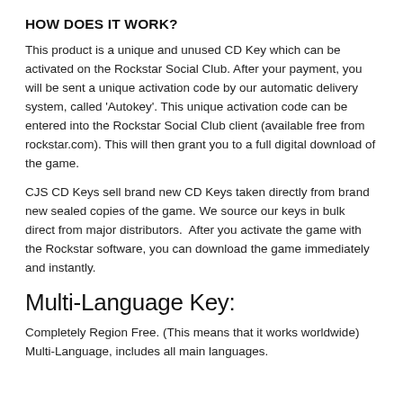HOW DOES IT WORK?
This product is a unique and unused CD Key which can be activated on the Rockstar Social Club. After your payment, you will be sent a unique activation code by our automatic delivery system, called 'Autokey'. This unique activation code can be entered into the Rockstar Social Club client (available free from rockstar.com). This will then grant you to a full digital download of the game.
CJS CD Keys sell brand new CD Keys taken directly from brand new sealed copies of the game. We source our keys in bulk direct from major distributors.  After you activate the game with the Rockstar software, you can download the game immediately and instantly.
Multi-Language Key:
Completely Region Free. (This means that it works worldwide)
Multi-Language, includes all main languages.